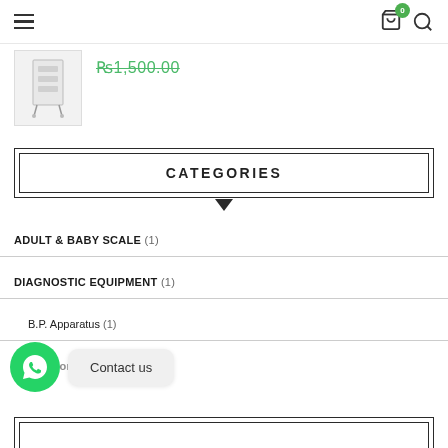Navigation header with hamburger menu, cart icon with badge 0, and search icon
[Figure (photo): Small medical cabinet/bedside table product image in grey]
₨1,500.00
CATEGORIES
ADULT & BABY SCALE (1)
DIAGNOSTIC EQUIPMENT (1)
B.P. Apparatus (1)
Uncategorized (74)
Contact us